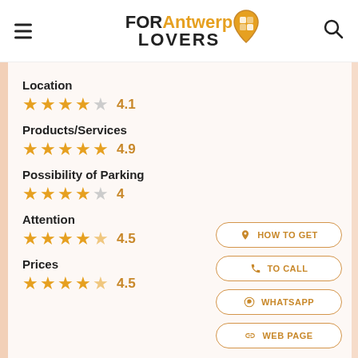FOR Antwerp LOVERS
Location
4.1
Products/Services
4.9
Possibility of Parking
4
Attention
4.5
Prices
4.5
HOW TO GET
TO CALL
WHATSAPP
WEB PAGE